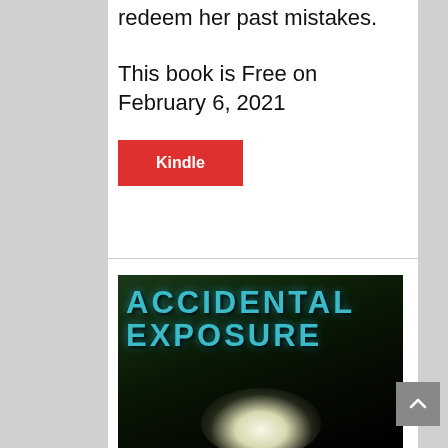redeem her past mistakes.
This book is Free on February 6, 2021
Kindle
[Figure (illustration): Book cover for 'Accidental Exposure' showing large teal/blue distressed text on a dark green/black background with a glowing white light source at the bottom center]